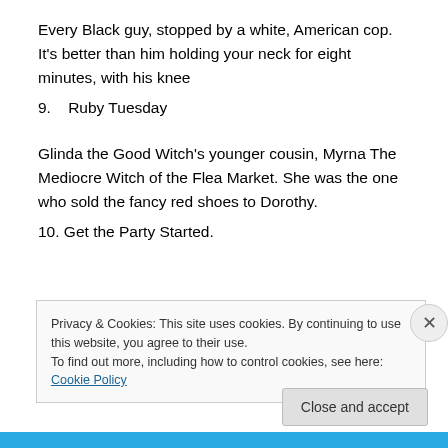Every Black guy, stopped by a white, American cop.  It's better than him holding your neck for eight minutes, with his knee
9.   Ruby Tuesday
Glinda the Good Witch's younger cousin, Myrna The Mediocre Witch of the Flea Market.  She was the one who sold the fancy red shoes to Dorothy.
10. Get the Party Started.
Privacy & Cookies: This site uses cookies. By continuing to use this website, you agree to their use.
To find out more, including how to control cookies, see here: Cookie Policy